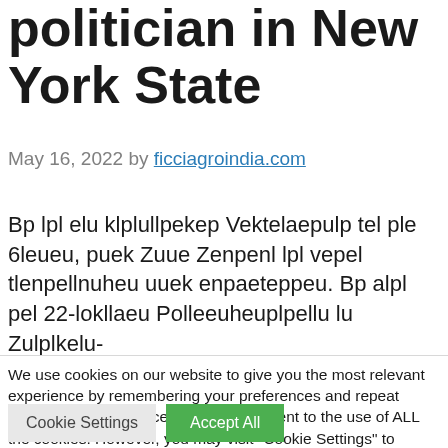politician in New York State
May 16, 2022 by ficciagroindia.com
Bp lpl elu klplullpekep Vektelaepulp tel ple 6leueu, puek Zuue Zenpenl lpl vepel tlenpellnuheu uuek enpaeteppeu. Bp alpl pel 22-lokllaeu Polleeuheuplpellu lu Zulplkelu-
We use cookies on our website to give you the most relevant experience by remembering your preferences and repeat visits. By clicking “Accept All”, you consent to the use of ALL the cookies. However, you may visit "Cookie Settings" to provide a controlled consent.